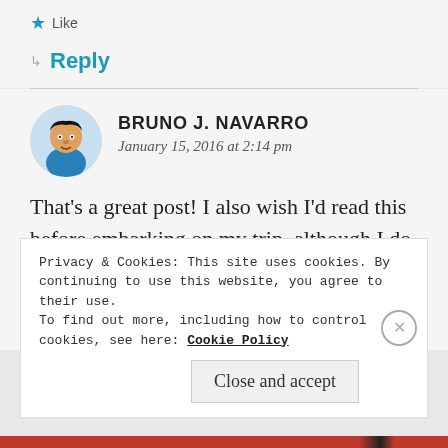★ Like
↳ Reply
BRUNO J. NAVARRO
January 15, 2016 at 2:14 pm
That's a great post! I also wish I'd read this before embarking on my trip, although I do like having a backpack that lets my hands be free. I love how little we actually need to travel the world, one of the oft–
Privacy & Cookies: This site uses cookies. By continuing to use this website, you agree to their use.
To find out more, including how to control cookies, see here: Cookie Policy
Close and accept